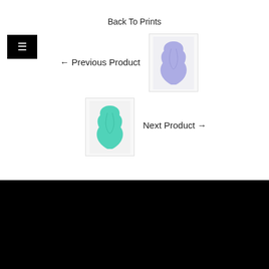Back To Prints
[Figure (illustration): Hamburger menu button icon (three horizontal lines) on black background]
← Previous Product
[Figure (illustration): Thumbnail of a purple/periwinkle abstract torso-shaped art print on white background]
[Figure (illustration): Thumbnail of a teal/green abstract torso-shaped art print on white background]
Next Product →
EXPLORE
FAQs
Shipping + Returns